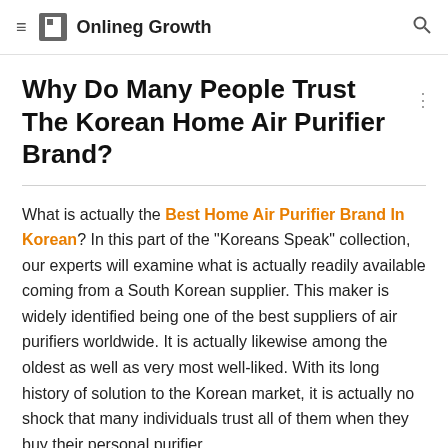Onlineg Growth
Why Do Many People Trust The Korean Home Air Purifier Brand?
What is actually the Best Home Air Purifier Brand In Korean? In this part of the "Koreans Speak" collection, our experts will examine what is actually readily available coming from a South Korean supplier. This maker is widely identified being one of the best suppliers of air purifiers worldwide. It is actually likewise among the oldest as well as very most well-liked. With its long history of solution to the Korean market, it is actually no shock that many individuals trust all of them when they buy their personal purifier